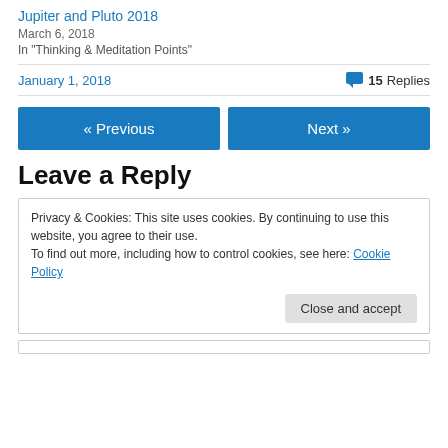Jupiter and Pluto 2018
March 6, 2018
In "Thinking & Meditation Points"
January 1, 2018   💬 15 Replies
« Previous
Next »
Leave a Reply
Privacy & Cookies: This site uses cookies. By continuing to use this website, you agree to their use. To find out more, including how to control cookies, see here: Cookie Policy
Close and accept